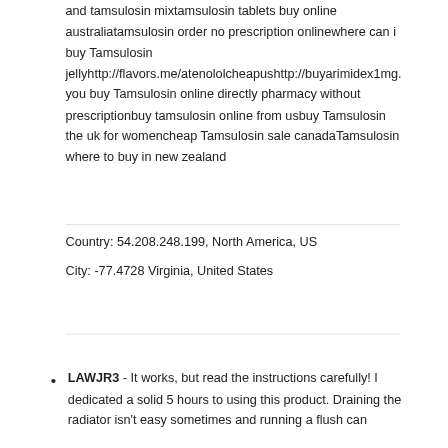and tamsulosin mixtamsulosin tablets buy online australiatamsulosin order no prescription onlinewhere can i buy Tamsulosin jellyhttp://flavors.me/atenololcheapushttp://buyarimidex1mg. you buy Tamsulosin online directly pharmacy without prescriptionbuy tamsulosin online from usbuy Tamsulosin the uk for womencheap Tamsulosin sale canadaTamsulosin where to buy in new zealand
Country: 54.208.248.199, North America, US
City: -77.4728 Virginia, United States
LAWJR3 - It works, but read the instructions carefully! I dedicated a solid 5 hours to using this product. Draining the radiator isn't easy sometimes and running a flush can